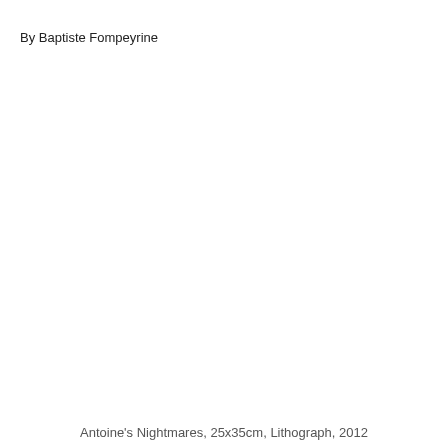By Baptiste Fompeyrine
Antoine's Nightmares, 25x35cm, Lithograph, 2012